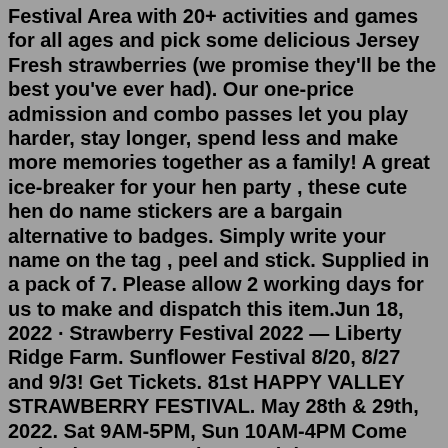Festival Area with 20+ activities and games for all ages and pick some delicious Jersey Fresh strawberries (we promise they'll be the best you've ever had). Our one-price admission and combo passes let you play harder, stay longer, spend less and make more memories together as a family! A great ice-breaker for your hen party , these cute hen do name stickers are a bargain alternative to badges. Simply write your name on the tag , peel and stick. Supplied in a pack of 7. Please allow 2 working days for us to make and dispatch this item.Jun 18, 2022 · Strawberry Festival 2022 — Liberty Ridge Farm. Sunflower Festival 8/20, 8/27 and 9/3! Get Tickets. 81st HAPPY VALLEY STRAWBERRY FESTIVAL. May 28th & 29th, 2022. Sat 9AM-5PM, Sun 10AM-4PM Come and enjoy a Fun and Entertaining Day! Our Famous Generous Servings of Sweet Fresh Strawberries, Ice Cream & Shortcake are only $8. FREE ADMISSION & FREE PARKING JOIN US AT WEST VALLEY HIGH SCHOOL. Located at the Corner of Happy Valley Road & Gas Point Road May